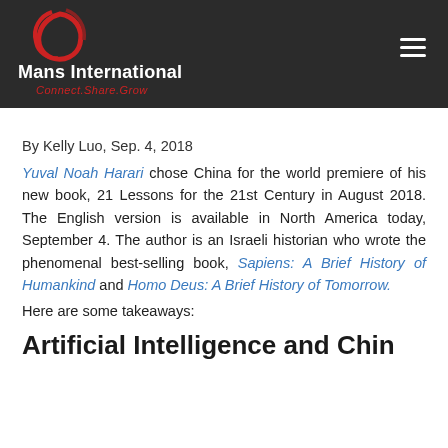Mans International — Connect.Share.Grow
By Kelly Luo, Sep. 4, 2018
Yuval Noah Harari chose China for the world premiere of his new book, 21 Lessons for the 21st Century in August 2018. The English version is available in North America today, September 4. The author is an Israeli historian who wrote the phenomenal best-selling book, Sapiens: A Brief History of Humankind and Homo Deus: A Brief History of Tomorrow.
Here are some takeaways:
Artificial Intelligence and Chin